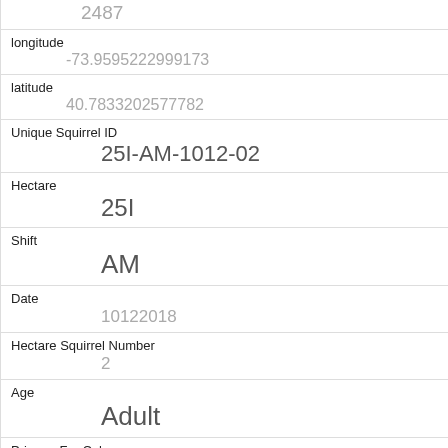| 2487 |
| longitude | -73.9595222999173 |
| latitude | 40.7833202577782 |
| Unique Squirrel ID | 25I-AM-1012-02 |
| Hectare | 25I |
| Shift | AM |
| Date | 10122018 |
| Hectare Squirrel Number | 2 |
| Age | Adult |
| Primary Fur Color | Cinnamon |
| Highlight Fur Color | Gray |